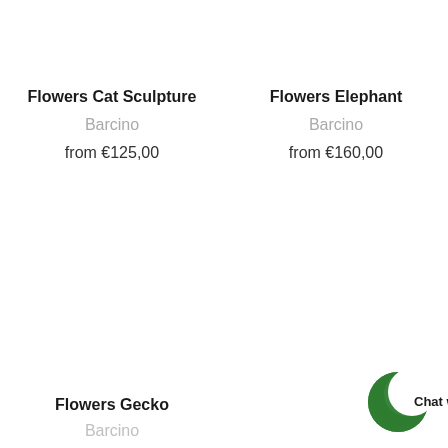Flowers Cat Sculpture
Barcino
from €125,00
Flowers Elephant
Barcino
from €160,00
Flowers Gecko
Barcino
[Figure (other): Green chat widget icon in bottom right corner with text 'Chat w']